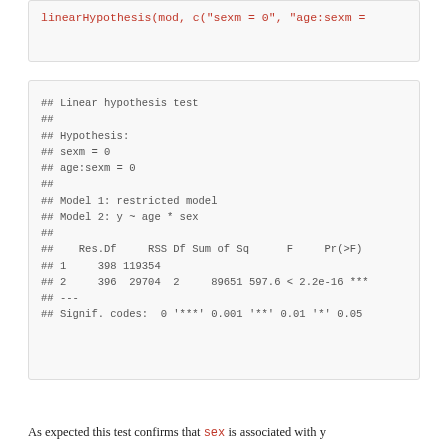linearHypothesis(mod, c("sexm = 0", "age:sexm =
## Linear hypothesis test
##
## Hypothesis:
## sexm = 0
## age:sexm = 0
##
## Model 1: restricted model
## Model 2: y ~ age * sex
##
##    Res.Df     RSS Df Sum of Sq      F     Pr(>F)
## 1     398 119354
## 2     396  29704  2     89651 597.6 < 2.2e-16 ***
## ---
## Signif. codes:  0 '***' 0.001 '**' 0.01 '*' 0.05
As expected this test confirms that sex is associated with y